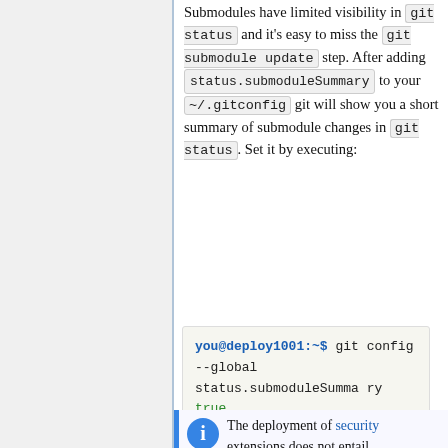Submodules have limited visibility in git status and it's easy to miss the git submodule update step. After adding status.submoduleSummary to your ~/.gitconfig git will show you a short summary of submodule changes in git status. Set it by executing:
[Figure (screenshot): Terminal code block showing: you@deploy1001:~$ git config --global status.submoduleSummary true]
The deployment of security extensions does not entail submodule update , and repository may appear "dir...